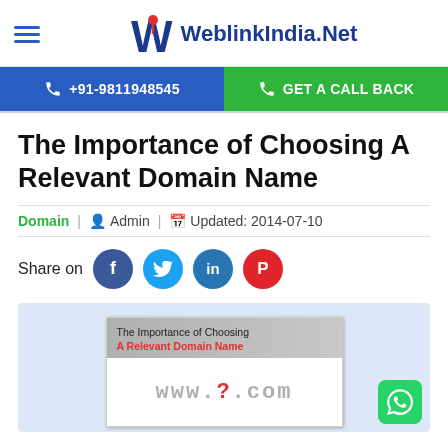WeblinkIndia.Net — +91-9811948545 | GET A CALL BACK
The Importance of Choosing A Relevant Domain Name
Domain | Admin | Updated: 2014-07-10
Share on [Facebook] [Twitter] [LinkedIn] [Pinterest]
[Figure (illustration): Article featured image showing 'www.?.com' with text 'The Importance of Choosing A Relevant Domain Name' on a light blue background]